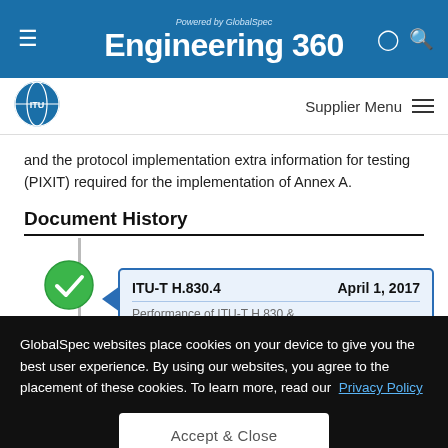Powered by GlobalSpec Engineering 360
[Figure (logo): ITU globe logo in blue]
Supplier Menu
and the protocol implementation extra information for testing (PIXIT) required for the implementation of Annex A.
Document History
[Figure (infographic): Document history timeline showing ITU-T H.830.4 dated April 1, 2017 with a green checkmark circle on a vertical timeline and a blue card pointing right]
GlobalSpec websites place cookies on your device to give you the best user experience. By using our websites, you agree to the placement of these cookies. To learn more, read our Privacy Policy
Accept & Close